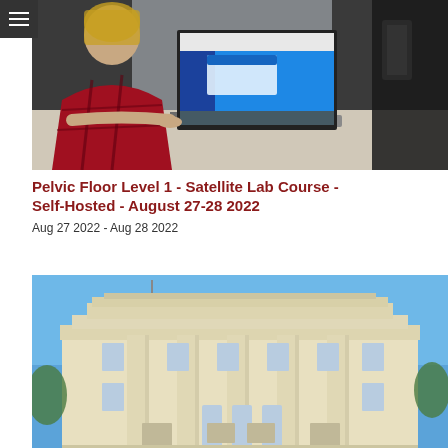[Figure (photo): Person typing on a MacBook laptop with a blue screen visible, wearing a red plaid shirt, photo taken from behind/side]
Pelvic Floor Level 1 - Satellite Lab Course - Self-Hosted - August 27-28 2022
Aug 27 2022 - Aug 28 2022
[Figure (photo): White/cream neoclassical building with columns and blue sky in background]